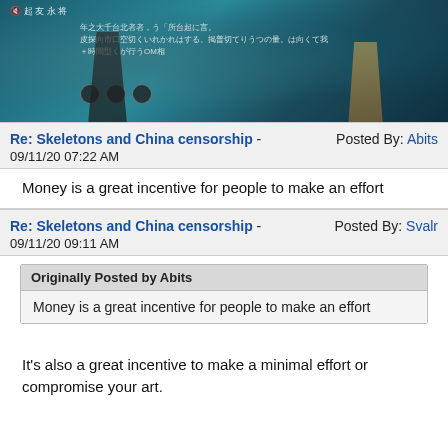[Figure (screenshot): A video game screenshot showing dark-styled characters on a teal/dark background with Japanese text overlay and lock icons.]
Re: Skeletons and China censorship - 09/11/20 07:22 AM
Posted By: Abits
Money is a great incentive for people to make an effort
Re: Skeletons and China censorship - 09/11/20 09:11 AM
Posted By: Svalr
Originally Posted by Abits
Money is a great incentive for people to make an effort
It's also a great incentive to make a minimal effort or compromise your art.